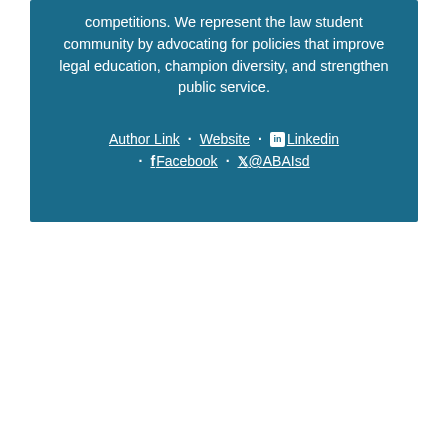competitions. We represent the law student community by advocating for policies that improve legal education, champion diversity, and strengthen public service.
Author Link · Website · Linkedin · Facebook · @ABAIsd